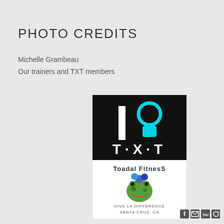PHOTO CREDITS
Michelle Grambeau
Our trainers and TXT members
[Figure (logo): TXT Toadal Fitness Santa Cruz logo on black background with kettlebell icon and T·X·T text]
[Figure (logo): Toadal Fitness logo with cartoon toad character, text: Vive La Difference Santa Cruz, CA]
Social media icons: Facebook, Email, YouTube, Instagram